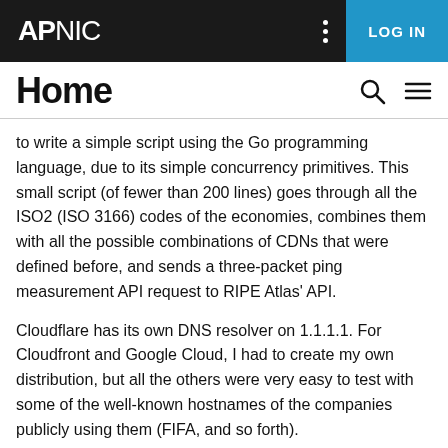APNIC | LOG IN
Home
to write a simple script using the Go programming language, due to its simple concurrency primitives. This small script (of fewer than 200 lines) goes through all the ISO2 (ISO 3166) codes of the economies, combines them with all the possible combinations of CDNs that were defined before, and sends a three-packet ping measurement API request to RIPE Atlas' API.
Cloudflare has its own DNS resolver on 1.1.1.1. For Cloudfront and Google Cloud, I had to create my own distribution, but all the others were very easy to test with some of the well-known hostnames of the companies publicly using them (FIFA, and so forth).